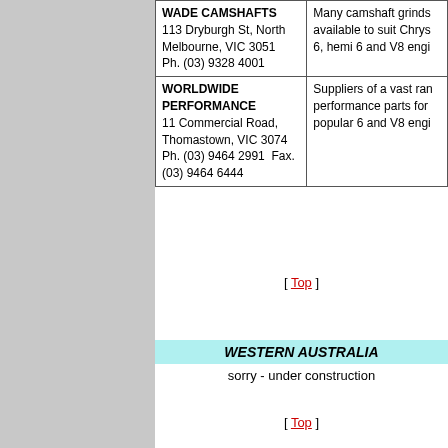| Business | Description |
| --- | --- |
| WADE CAMSHAFTS
113 Dryburgh St, North Melbourne, VIC 3051
Ph. (03) 9328 4001 | Many camshaft grinds available to suit Chrys 6, hemi 6 and V8 engi... |
| WORLDWIDE PERFORMANCE
11 Commercial Road, Thomastown, VIC 3074
Ph. (03) 9464 2991  Fax. (03) 9464 6444 | Suppliers of a vast ran performance parts for popular 6 and V8 engi... |
[ Top ]
WESTERN AUSTRALIA
sorry - under construction
[ Top ]